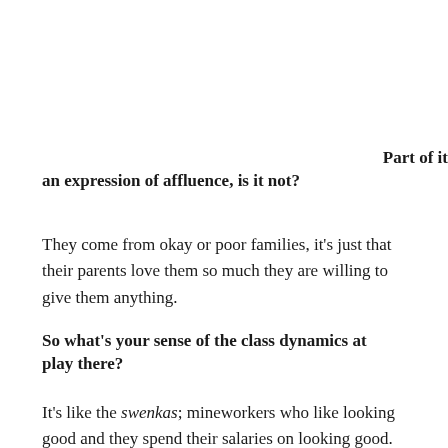Part of it an expression of affluence, is it not?
They come from okay or poor families, it's just that their parents love them so much they are willing to give them anything.
So what's your sense of the class dynamics at play there?
It's like the swenkas; mineworkers who like looking good and they spend their salaries on looking good. It doesn't mean they are better off than the others...